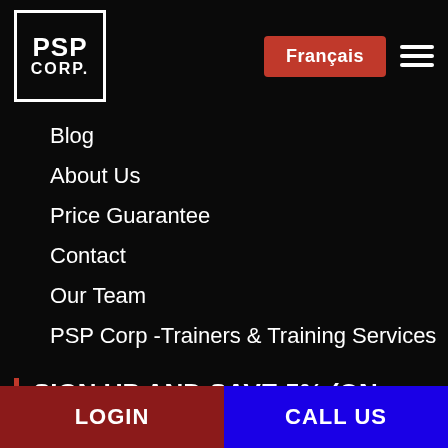[Figure (logo): PSP Corp logo — white block letters PSP over CORP. inside a white-bordered black square]
Français
Blog
About Us
Price Guarantee
Contact
Our Team
PSP Corp -Trainers & Training Services
SIGN UP AND SAVE 5% (ON YOUR FIRST ORDER)
LOGIN
CALL US